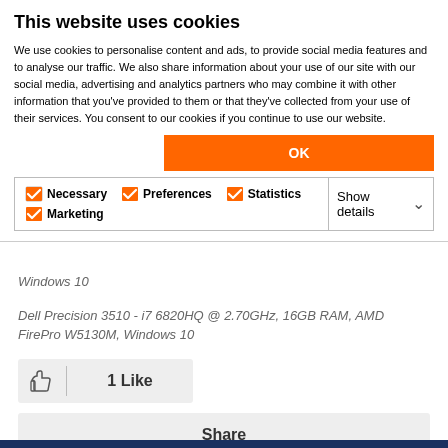This website uses cookies
We use cookies to personalise content and ads, to provide social media features and to analyse our traffic. We also share information about your use of our site with our social media, advertising and analytics partners who may combine it with other information that you've provided to them or that they've collected from your use of their services. You consent to our cookies if you continue to use our website.
OK
Necessary  Preferences  Statistics  Marketing  Show details
Windows 10
Dell Precision 3510 - i7 6820HQ @ 2.70GHz, 16GB RAM, AMD FirePro W5130M, Windows 10
1 Like
Share